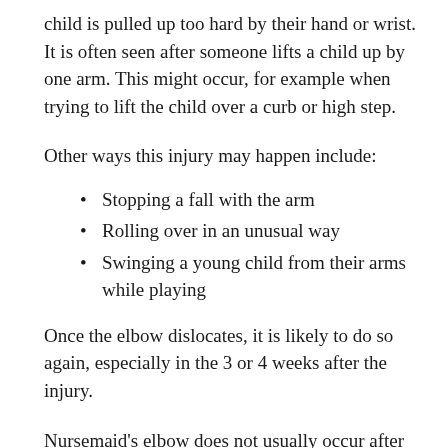child is pulled up too hard by their hand or wrist. It is often seen after someone lifts a child up by one arm. This might occur, for example when trying to lift the child over a curb or high step.
Other ways this injury may happen include:
Stopping a fall with the arm
Rolling over in an unusual way
Swinging a young child from their arms while playing
Once the elbow dislocates, it is likely to do so again, especially in the 3 or 4 weeks after the injury.
Nursemaid's elbow does not usually occur after age 5. By this time, a child's joints and the structures around it...